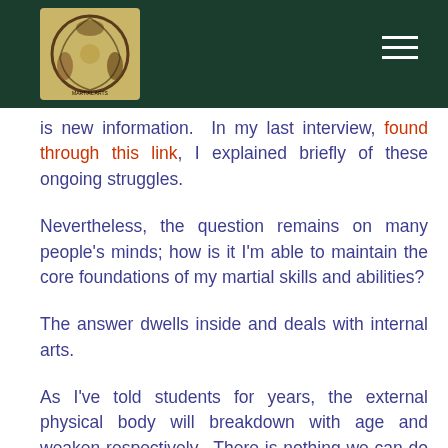[Navigation bar with logo and hamburger menu]
is new information.  In my last interview, found through this link, I explained briefly of these ongoing struggles.
Nevertheless, the question remains on many people's minds; how is it I'm able to maintain the core foundations of my martial skills and abilities?
The answer dwells inside and deals with internal arts.
As I've told students for years, the external physical body will breakdown with age and weaken respectively.  There is nothing we can do to change that in the long run.  It's just a fact of physical life.  Though conditioning and training of